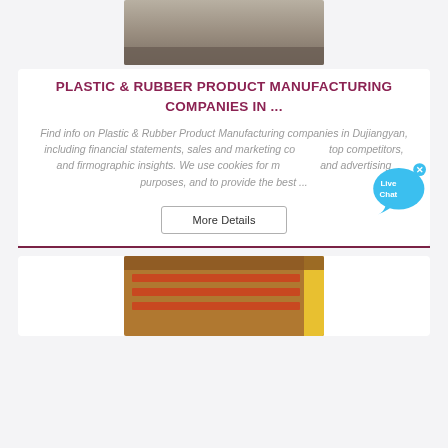[Figure (photo): Top portion of an outdoor/industrial site photo, partially cropped at the top]
PLASTIC & RUBBER PRODUCT MANUFACTURING COMPANIES IN ...
Find info on Plastic & Rubber Product Manufacturing companies in Dujiangyan, including financial statements, sales and marketing contacts, top competitors, and firmographic insights. We use cookies for marketing and advertising purposes, and to provide the best ...
More Details
[Figure (photo): Bottom photo showing industrial equipment — red/orange flat bars arranged on a yellow-framed platform or container]